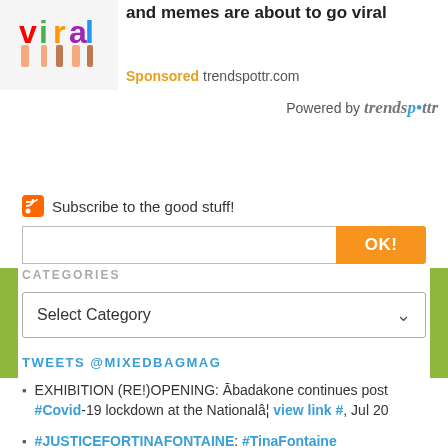[Figure (illustration): Colorful 'viral' text logo with hands holding letters]
and memes are about to go viral
Sponsored trendspottr.com
Powered by trendspottr
Subscribe to the good stuff!
OK!
CATEGORIES
Select Category
TWEETS @MIXEDBAGMAG
EXHIBITION (RE!)OPENING: Ābadakone continues post #Covid-19 lockdown at the Nationalâ¦ view link #, Jul 20
#JUSTICEFORTINAFONTAINE: #TinaFontaine #LoveForTina view link #, Feb 09
RT @CBCIndigenous: LIVE: #LoveForTina march underway in Winnipeg view link #, Feb 23